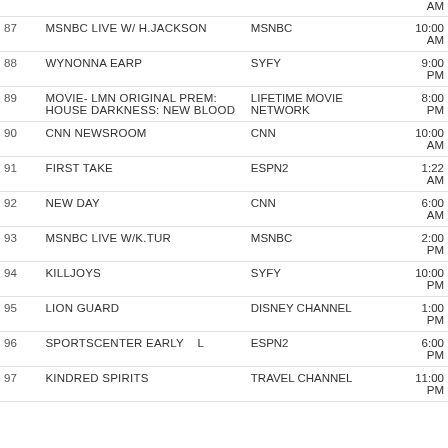| # | Title | Network | Time |
| --- | --- | --- | --- |
|  |  |  | AM |
| 87 | MSNBC LIVE W/ H.JACKSON | MSNBC | 10:00 AM |
| 88 | WYNONNA EARP | SYFY | 9:00 PM |
| 89 | MOVIE- LMN ORIGINAL PREM: HOUSE DARKNESS: NEW BLOOD | LIFETIME MOVIE NETWORK | 8:00 PM |
| 90 | CNN NEWSROOM | CNN | 10:00 AM |
| 91 | FIRST TAKE | ESPN2 | 1:22 AM |
| 92 | NEW DAY | CNN | 6:00 AM |
| 93 | MSNBC LIVE W/K.TUR | MSNBC | 2:00 PM |
| 94 | KILLJOYS | SYFY | 10:00 PM |
| 95 | LION GUARD | DISNEY CHANNEL | 1:00 PM |
| 96 | SPORTSCENTER EARLY    L | ESPN2 | 6:00 PM |
| 97 | KINDRED SPIRITS | TRAVEL CHANNEL | 11:00 PM |